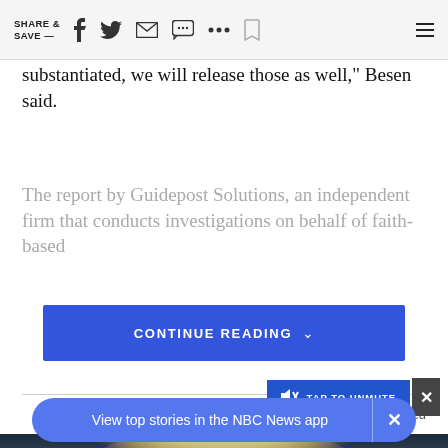SHARE & SAVE —
substantiated, we will release those as well," Besen said.
The report by Guidepost Solutions, an independent firm that conducts investigations on behalf of faith-based
CONTINUE READING
Taboola Feed
[Figure (photo): Close-up photo of a blonde woman against a dark blue background]
TAP TO UNMUTE
View top stories in the NBC News app